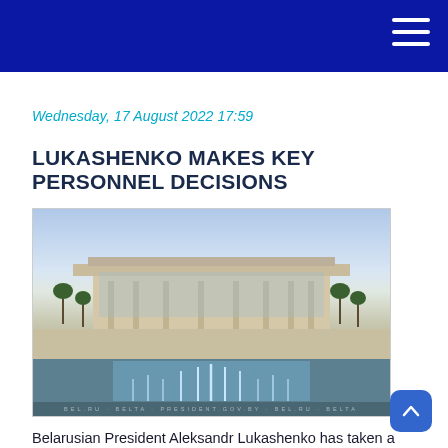Wednesday, 17 August 2022 17:59
LUKASHENKO MAKES KEY PERSONNEL DECISIONS
[Figure (photo): Photograph of the Belarusian presidential palace building with fountains in the foreground, under a blue sky]
Belarusian President Aleksandr Lukashenko has taken a number of important personnel decisions, the press service of the Belarusian president told the Belarus 1